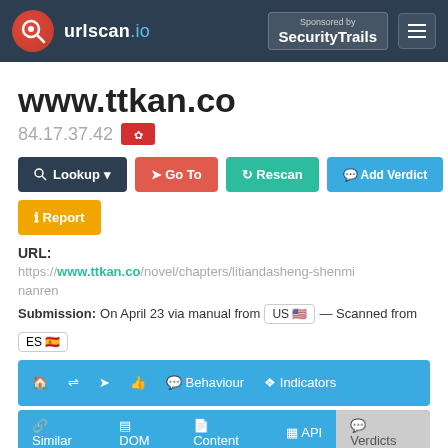urlscan.io — Sponsored by SecurityTrails
www.ttkan.co
84.17.37.42 [HK flag]
Lookup | Go To | Rescan | Add Verdict | Report
URL:
https://www.ttkan.co/novel/chapters/litiandasheng-shenmi nanren
Submission: On April 23 via manual from US — Scanned from ES
[nav tabs: home, arrows, share, like, Behaviour, Indicators]
[nav tabs: Similar, DOM, Content, API, Verdicts]
Summary